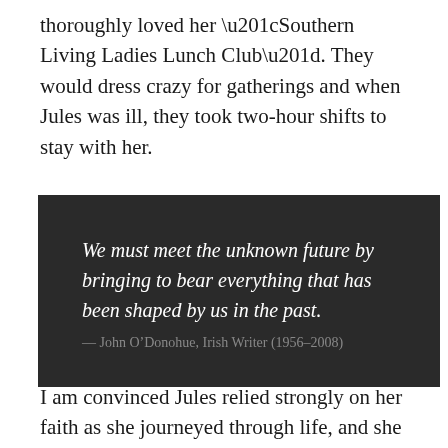thoroughly loved her “Southern Living Ladies Lunch Club”. They would dress crazy for gatherings and when Jules was ill, they took two-hour shifts to stay with her.
[Figure (other): Dark background quote box containing an italic quote by John O’Donohue and attribution text.]
I am convinced Jules relied strongly on her faith as she journeyed through life, and she